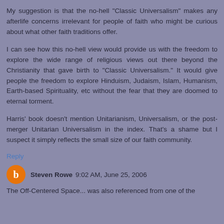My suggestion is that the no-hell "Classic Universalism" makes any afterlife concerns irrelevant for people of faith who might be curious about what other faith traditions offer.
I can see how this no-hell view would provide us with the freedom to explore the wide range of religious views out there beyond the Christianity that gave birth to "Classic Universalism." It would give people the freedom to explore Hinduism, Judaism, Islam, Humanism, Earth-based Spirituality, etc without the fear that they are doomed to eternal torment.
Harris' book doesn't mention Unitarianism, Universalism, or the post-merger Unitarian Universalism in the index. That's a shame but I suspect it simply reflects the small size of our faith community.
Reply
Steven Rowe 9:02 AM, June 25, 2006
The Off-Centered Space... was also referenced from one of the